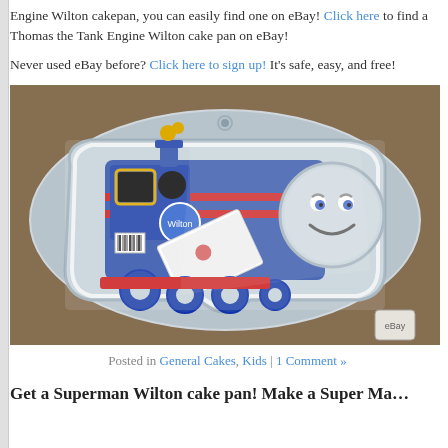Engine Wilton cakepan, you can easily find one on eBay! Click here to find a Thomas the Tank Engine Wilton cake pan on eBay!
Never used eBay before? Click here to sign up! It's safe, easy, and free!
[Figure (photo): A Wilton Thomas the Tank Engine shaped aluminum cake pan, still in packaging, showing Thomas the blue train with a smiling face, displayed on a brown carpet background.]
Posted in General Cakes, Kids | 1 Comment »
Get a Superman Wilton cake pan! Make a Super Ma…